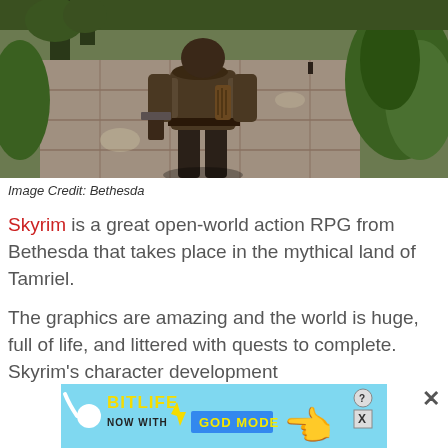[Figure (screenshot): Screenshot from Skyrim video game showing a character with fur armor walking along a stone path with green foliage in the background]
Image Credit: Bethesda
Skyrim is a great open-world action RPG from Bethesda that takes place in the mythical land of Tamriel.
The graphics are amazing and the world is huge, full of life, and littered with quests to complete. Skyrim’s character development
[Figure (screenshot): BitLife advertisement banner: NOW WITH GOD MODE, showing a hand pointing icon]